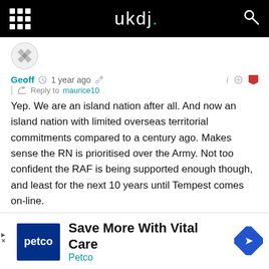ukdj.
[Figure (photo): User avatar for Geoff - circular icon with diamond pattern]
Geoff  1 year ago  Reply to maurice10
Yep. We are an island nation after all. And now an island nation with limited overseas territorial commitments compared to a century ago. Makes sense the RN is prioritised over the Army. Not too confident the RAF is being supported enough though, and least for the next 10 years until Tempest comes on-line.
Reply
[Figure (photo): Partial avatar of next commenter]
Save More With Vital Care
Petco